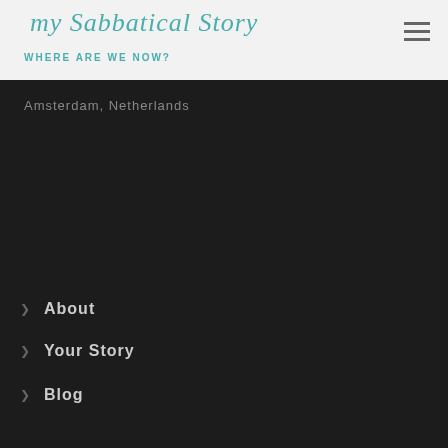my Sabbatical Story
WHERE ARE WE NOW?
Amsterdam, Netherlands
About
Your Story
Blog